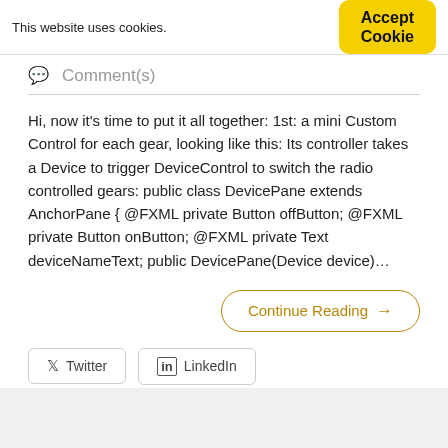This website uses cookies.
Accept Cookie
Comment(s)
Hi, now it's time to put it all together: 1st: a mini Custom Control for each gear, looking like this: Its controller takes a Device to trigger DeviceControl to switch the radio controlled gears: public class DevicePane extends AnchorPane { @FXML private Button offButton; @FXML private Button onButton; @FXML private Text deviceNameText; public DevicePane(Device device)…
Continue Reading →
Twitter
LinkedIn